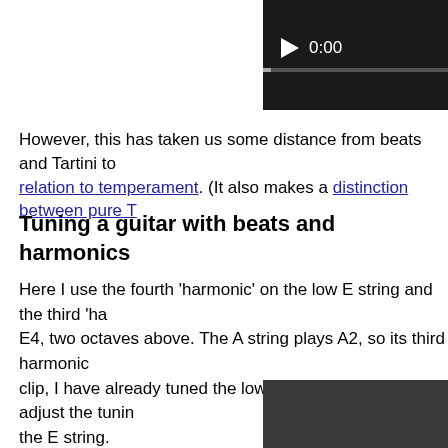[Figure (screenshot): Video player with dark background showing play button and timestamp 0:00 with progress bar]
However, this has taken us some distance from beats and Tartini tones and their relation to temperament. (It also makes a distinction between pure T…
Tuning a guitar with beats and harmonics
Here I use the fourth 'harmonic' on the low E string and the third 'ha… E4, two octaves above. The A string plays A2, so its third harmonic… clip, I have already tuned the low E string, so here I adjust the tunin… the E string.
[Figure (screenshot): Video player with dark background, no controls visible]